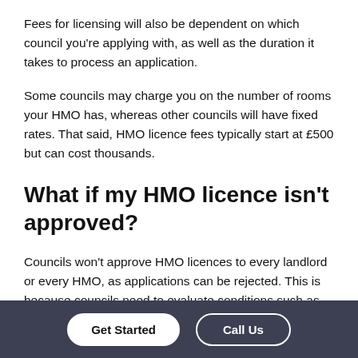Fees for licensing will also be dependent on which council you're applying with, as well as the duration it takes to process an application.
Some councils may charge you on the number of rooms your HMO has, whereas other councils will have fixed rates. That said, HMO licence fees typically start at £500 but can cost thousands.
What if my HMO licence isn't approved?
Councils won't approve HMO licences to every landlord or every HMO, as applications can be rejected. This is because councils need to evaluate conditions such as whether or not
Get Started | Call Us